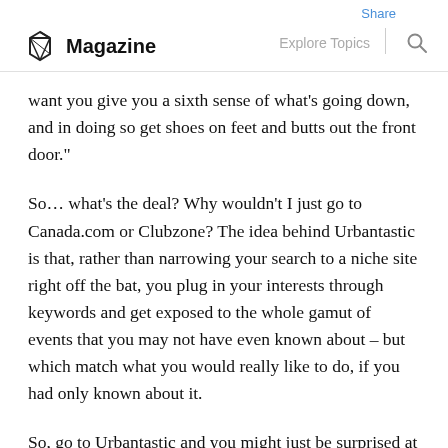Share | Magazine | Explore Topics
want you give you a sixth sense of what’s going down, and in doing so get shoes on feet and butts out the front door.”
So… what’s the deal? Why wouldn’t I just go to Canada.com or Clubzone? The idea behind Urbantastic is that, rather than narrowing your search to a niche site right off the bat, you plug in your interests through keywords and get exposed to the whole gamut of events that you may not have even known about – but which match what you would really like to do, if you had only known about it.
So, go to Urbantastic and you might just be surprised at